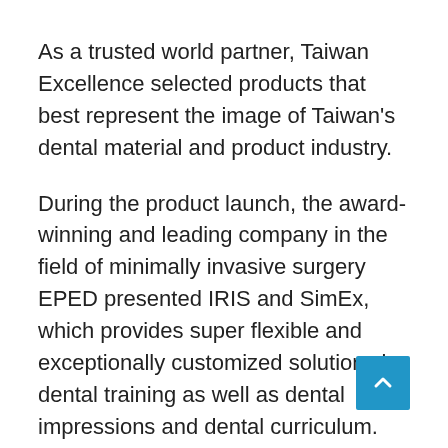As a trusted world partner, Taiwan Excellence selected products that best represent the image of Taiwan's dental material and product industry.
During the product launch, the award-winning and leading company in the field of minimally invasive surgery EPED presented IRIS and SimEx, which provides super flexible and exceptionally customized solutions in dental training as well as dental impressions and dental curriculum. Saturn Imaging, which specializes in 3D diagnosis and implant planning software, on the other hand, showcased its ImplantMax that provides an all-in-one solution for guided implantology, ranging from digital treatment planning, surgical guide fabrication, to surgical guide verification. The all-in-one